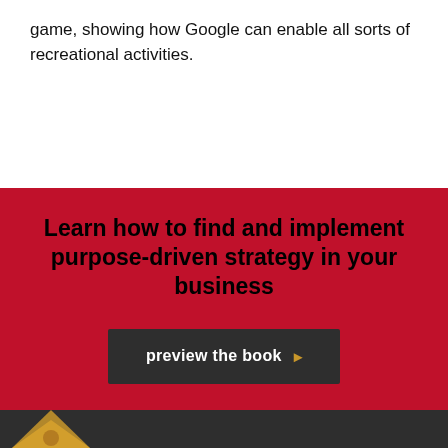game, showing how Google can enable all sorts of recreational activities.
Learn how to find and implement purpose-driven strategy in your business
preview the book →